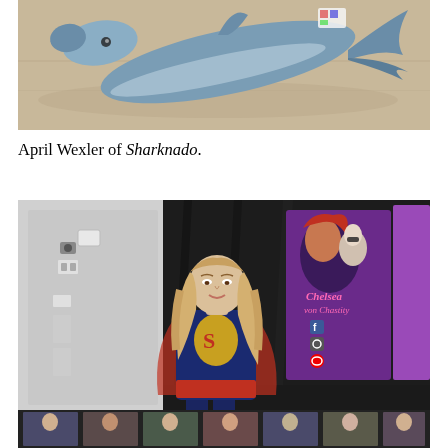[Figure (photo): A deflated or flat shark toy/prop (blue-grey inflatable shark) lying on a beige/tan concrete floor, viewed from above.]
April Wexler of Sharknado.
[Figure (photo): A person cosplaying as Supergirl (blonde wig, blue Supergirl outfit with red S shield) standing in front of a convention booth banner that reads 'Chelsea von Chastity' with social media icons, and a display of cosplay photos below.]